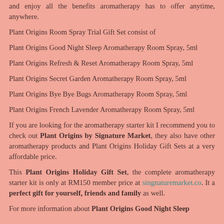and enjoy all the benefits aromatherapy has to offer anytime, anywhere.
Plant Origins Room Spray Trial Gift Set consist of
Plant Origins Good Night Sleep Aromatherapy Room Spray, 5ml
Plant Origins Refresh & Reset Aromatherapy Room Spray, 5ml
Plant Origins Secret Garden Aromatherapy Room Spray, 5ml
Plant Origins Bye Bye Bugs Aromatherapy Room Spray, 5ml
Plant Origins French Lavender Aromatherapy Room Spray, 5ml
If you are looking for the aromatherapy starter kit I recommend you to check out Plant Origins by Signature Market, they also have other aromatherapy products and Plant Origins Holiday Gift Sets at a very affordable price.
This Plant Origins Holiday Gift Set, the complete aromatherapy starter kit is only at RM150 member price at singnaturemarket.co. It a perfect gift for yourself, friends and family as well.
For more information about Plant Origins Good Night Sleep